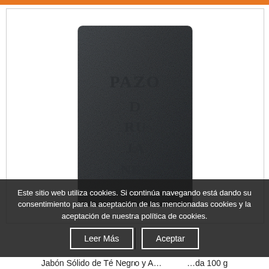[Figure (photo): Dark charcoal-colored rectangular bar of soap with 'PAZO DRUJANES' text embossed on its surface, displayed against a white background inside a bordered box.]
Este sitio web utiliza cookies. Si continúa navegando está dando su consentimiento para la aceptación de las mencionadas cookies y la aceptación de nuestra política de cookies.
Leer Más   Aceptar
Jabón Sólido de Té Negro y A... ...da 100 g